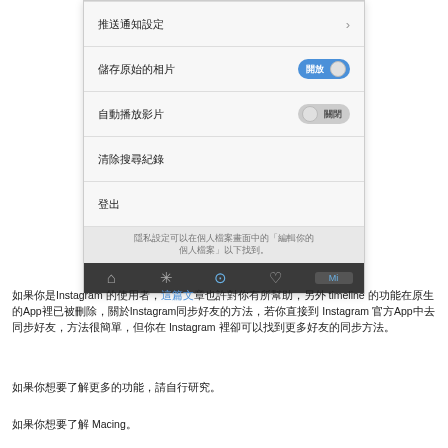[Figure (screenshot): Instagram app settings screen showing menu items: 推送通知設定 (Push notification settings) with chevron, 儲存原始的相片 (Save original photos) with blue ON toggle, 自動播放影片 (Auto-play video) with grey OFF toggle, 清除搜尋紀錄 (Clear search history), 登出 (Logout), a privacy note in grey, and a bottom tab bar with home/explore/camera/heart/profile icons.]
如果你是Instagram 的使用者，這篇文章也許對你有所幫助，另外 timeline 的功能在原生的App裡已被刪除，關於Instagram同步好友的方法，若你直接到 Instagram 官方App中去同步好友，方法很簡單，但你在 Instagram 裡卻可以找到更多好友的同步方法。
如果你想要了解更多的功能，請自行研究。
如果你想要了解 Macing。